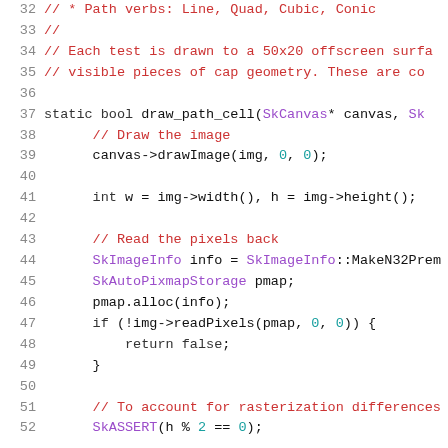Code listing lines 32-52: C++ source code showing draw_path_cell function with pixel reading logic